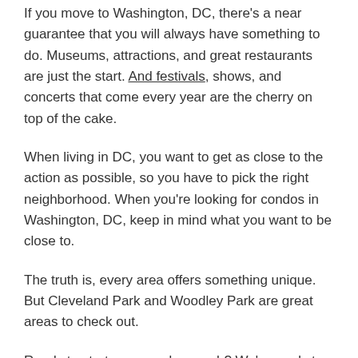If you move to Washington, DC, there's a near guarantee that you will always have something to do. Museums, attractions, and great restaurants are just the start. And festivals, shows, and concerts that come every year are the cherry on top of the cake.
When living in DC, you want to get as close to the action as possible, so you have to pick the right neighborhood. When you're looking for condos in Washington, DC, keep in mind what you want to be close to.
The truth is, every area offers something unique. But Cleveland Park and Woodley Park are great areas to check out.
Ready to start your condo search? We're ready to help you find your new home.
Tags